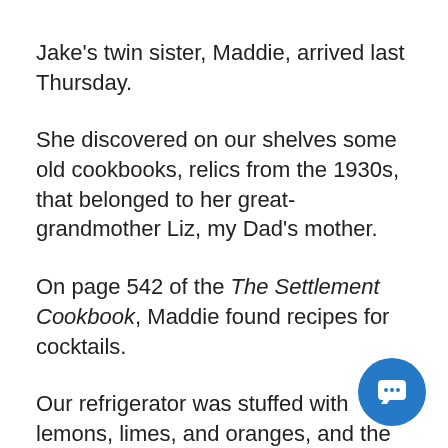Jake's twin sister, Maddie, arrived last Thursday.
She discovered on our shelves some old cookbooks, relics from the 1930s, that belonged to her great-grandmother Liz, my Dad's mother.
On page 542 of the The Settlement Cookbook, Maddie found recipes for cocktails.
Our refrigerator was stuffed with lemons, limes, and oranges, and the liquor cabinet had plenty of whiskey so Maddie whipped up a batch of Whiskey Sours – just like Grandma Liz